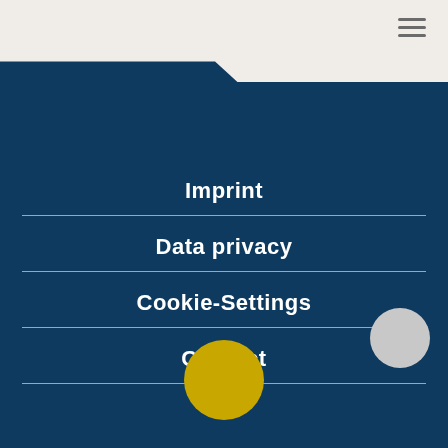[Figure (screenshot): Navigation menu overlay on a dark blue background with a beige top bar containing a hamburger icon. Four menu items are listed: Imprint, Data privacy, Cookie-Settings, Contact, each separated by a yellow/gold horizontal line. A grey circle appears near the Cookie-Settings item on the right, and a yellow/gold circle appears at the bottom center.]
Imprint
Data privacy
Cookie-Settings
Contact